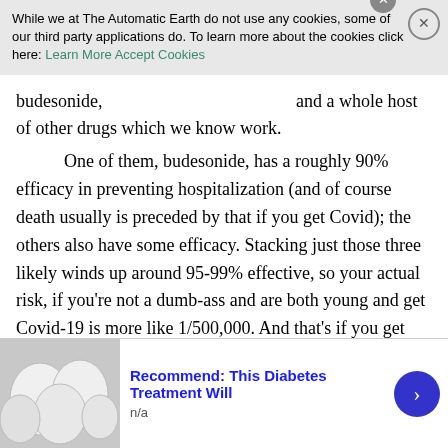While we at The Automatic Earth do not use any cookies, some of our third party applications do. To learn more about the cookies click here: Learn More  Accept Cookies
other drugs which we know work.
One of them, budesonide, has a roughly 90% efficacy in preventing hospitalization (and of course death usually is preceded by that if you get Covid); the others also have some efficacy. Stacking just those three likely winds up around 95-99% effective, so your actual risk, if you’re not a dumb-ass and are both young and get Covid-19 is more like 1/500,000. And that’s if you get Covid. The CDC says about 1/10 people have over a year’s time, so your risk as a healthy 18 year old is approximately 1/5,000,000 since to be exposed to the risk of death you first must get the disease and that is not certain. Remember, according to the CDC if you die while Covid-19 positive then your death was caused by Covid-19, even though this is not scientifically proved. This is the same standard that VAERS uses for vaccine death: you died associated with receiving the shot; it is no
[Figure (photo): Advertisement showing white egg-like objects with text: Recommend: This Diabetes Treatment Will, n/a]